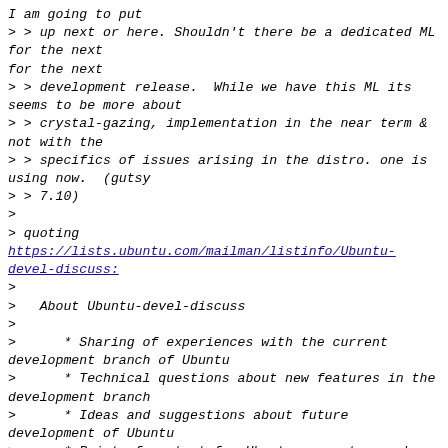I am going to put
> > up next or here. Shouldn't there be a dedicated ML for the next
> > development release.  While we have this ML its seems to be more about
> > crystal-gazing, implementation in the near term & not with the
> > specifics of issues arising in the distro. one is using now.  (gutsy
> > 7.10)
>
> quoting
https://lists.ubuntu.com/mailman/listinfo/Ubuntu-devel-discuss:
>
>   About Ubuntu-devel-discuss
>
>      * Sharing of experiences with the current development branch of Ubuntu
>      * Technical questions about new features in the development branch
>      * Ideas and suggestions about future development of Ubuntu
>      * Point of contact for Ubuntu users to reach Ubuntu developers
>      * Open to all to subscribe, posting moderated for non-subscribers
>
> I agree that the description doesn't really match with reality that